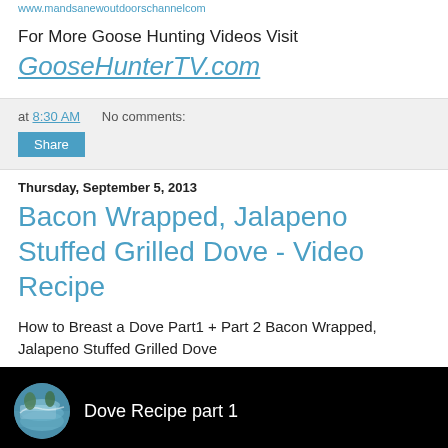www.mandsanewoutdoorschannelcom
For More Goose Hunting Videos Visit
GooseHunterTV.com
at 8:30 AM   No comments:
Share
Thursday, September 5, 2013
Bacon Wrapped, Jalapeno Stuffed Grilled Dove - Video Recipe
How to Breast a Dove Part1 + Part 2 Bacon Wrapped, Jalapeno Stuffed Grilled Dove
[Figure (screenshot): Video thumbnail showing 'Dove Recipe part 1' with circular avatar image of a pond/lake scene on black background]